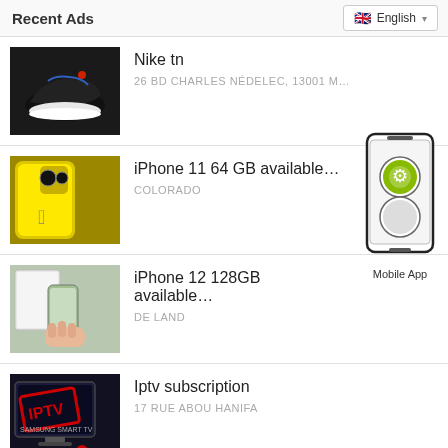Recent Ads | English
Nike tn — 26 BD CHARLES NÉDELEC, 13001 M...
iPhone 11 64 GB available... — COLORADO
iPhone 12 128GB available... — DE LAND
[Figure (illustration): Mobile App widget showing Android and Apple logos on a smartphone illustration with text 'Mobile App']
Iptv subscription — 17 RUE ABOU HANIFA